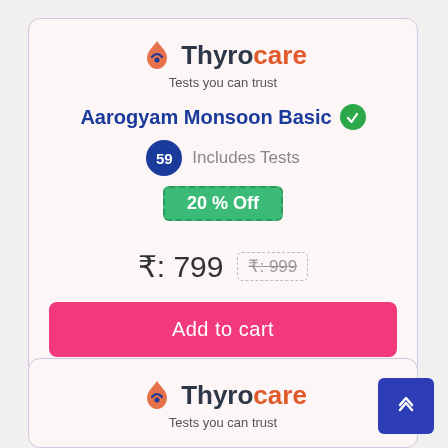[Figure (logo): Thyrocare logo with flame/drop icon. Text: Thyro in dark, care in orange-red. Tagline: Tests you can trust]
Aarogyam Monsoon Basic
59  Includes Tests
20 % Off
₹: 799  ₹: 999
Add to cart
[Figure (logo): Thyrocare logo (partial second card). Text: Thyro in dark, care in orange-red. Tagline: Tests you can trust]